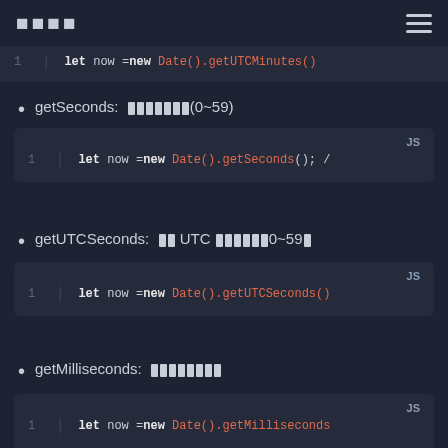□□□□
[Figure (screenshot): Partial code block at top showing: let now = new Date().getUTCMinutes()]
getSeconds: □□□□□□□(0~59)
[Figure (screenshot): Code block JS: let now = new Date().getSeconds(); /]
getUTCSeconds: □□ UTC □□□□□□0~59□
[Figure (screenshot): Code block JS: let now = new Date().getUTCSeconds()]
getMilliseconds: □□□□□□□□
[Figure (screenshot): Code block JS: let now = new Date().getMilliseconds]